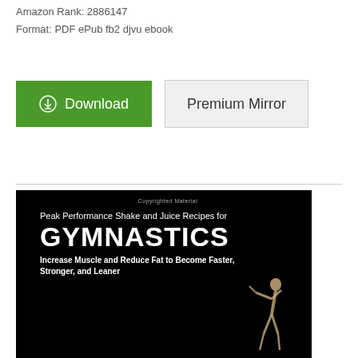Amazon Rank: 2886147
Format: PDF ePub fb2 djvu ebook
[Figure (other): Green Download button with download icon and gray Premium Mirror button]
[Figure (illustration): Book cover for 'Peak Performance Shake and Juice Recipes for GYMNASTICS - Increase Muscle and Reduce Fat to Become Faster, Stronger, and Leaner' on black background with a gymnast figure]